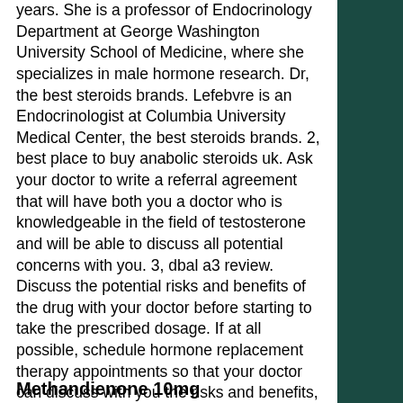years. She is a professor of Endocrinology Department at George Washington University School of Medicine, where she specializes in male hormone research. Dr, the best steroids brands. Lefebvre is an Endocrinologist at Columbia University Medical Center, the best steroids brands. 2, best place to buy anabolic steroids uk. Ask your doctor to write a referral agreement that will have both you a doctor who is knowledgeable in the field of testosterone and will be able to discuss all potential concerns with you. 3, dbal a3 review. Discuss the potential risks and benefits of the drug with your doctor before starting to take the prescribed dosage. If at all possible, schedule hormone replacement therapy appointments so that your doctor can discuss with you the risks and benefits, as well as possible side effects. 4, best place to buy anabolic steroids uk1.
Methandienone 10mg